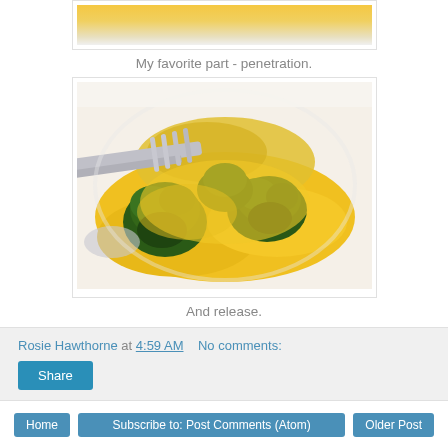[Figure (photo): Top portion of a food photo showing egg yolk sauce over broccoli on a white plate, partially cropped]
My favorite part - penetration.
[Figure (photo): Close-up photo of a fork piercing broccoli covered in hollandaise/egg yolk sauce on a white plate]
And release.
Rosie Hawthorne at 4:59 AM    No comments:
Share